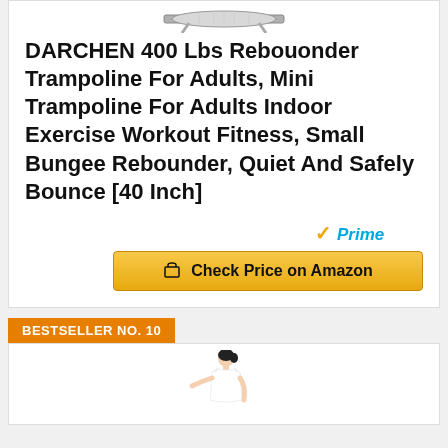[Figure (photo): Partial image of a trampoline (rebounder) product photo at the top of the card]
DARCHEN 400 Lbs Rebouonder Trampoline For Adults, Mini Trampoline For Adults Indoor Exercise Workout Fitness, Small Bungee Rebounder, Quiet And Safely Bounce [40 Inch]
[Figure (logo): Amazon Prime badge with orange checkmark and 'Prime' text in blue italic]
Check Price on Amazon
BESTSELLER NO. 10
[Figure (photo): Partial photo of a woman in white top, beginning of next product listing]